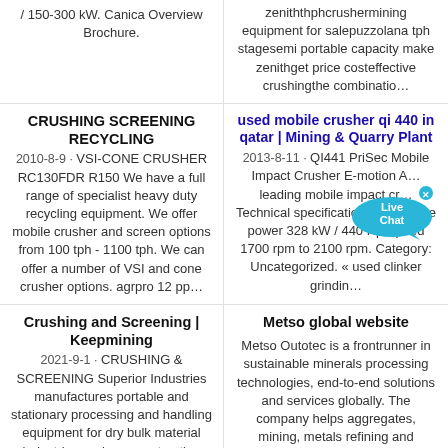/ 150-300 kW. Canica Overview Brochure.
zeniththphcrushermining equipment for salepuzzolana tph stagesemi portable capacity make zenithget price costeffective crushingthe combinatio…
CRUSHING SCREENING RECYCLING
2010-8-9 · VSI-CONE CRUSHER RC130FDR R150 We have a full range of specialist heavy duty recycling equipment. We offer mobile crusher and screen options from 100 tph - 1100 tph. We can offer a number of VSI and cone crusher options. agrpro 12 pp…
used mobile crusher qi 440 in qatar | Mining & Quarry Plant
2013-8-11 · QI441 PriSec Mobile Impact Crusher E-motion A… leading mobile impact cr… Technical specifications …. Engine power 328 kW / 440 Hp Speed 1700 rpm to 2100 rpm. Category: Uncategorized. « used clinker grindin…
Crushing and Screening | Keepmining
2021-9-1 · CRUSHING & SCREENING Superior Industries manufactures portable and stationary processing and handling equipment for dry bulk material industries such as construction aggregates, mining…
Metso global website
Metso Outotec is a frontrunner in sustainable minerals processing technologies, end-to-end solutions and services globally. The company helps aggregates, mining, metals refining and recycling customers improve efficiency…